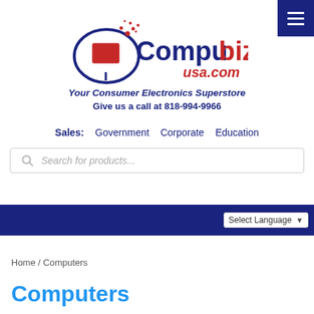[Figure (logo): Compubiz USA.com logo with monitor icon and red/blue text]
Your Consumer Electronics Superstore
Give us a call at 818-994-9966
Sales:  Government  Corporate  Education
Search for products...
Select Language
Home / Computers
Computers